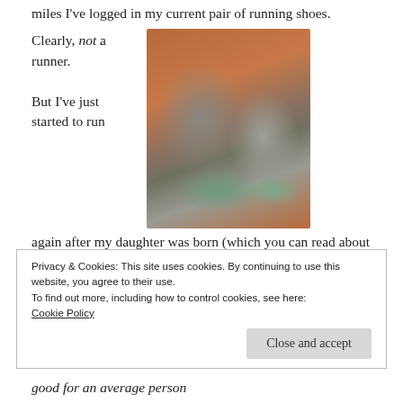miles I've logged in my current pair of running shoes.
Clearly, not a runner.
[Figure (photo): A pair of worn grey and teal running shoes photographed from above on a wooden floor surface.]
But I've just started to run again after my daughter was born (which you can read about here and here), and I am reminded of the tremendous
Privacy & Cookies: This site uses cookies. By continuing to use this website, you agree to their use.
To find out more, including how to control cookies, see here:
Cookie Policy
good for an average person